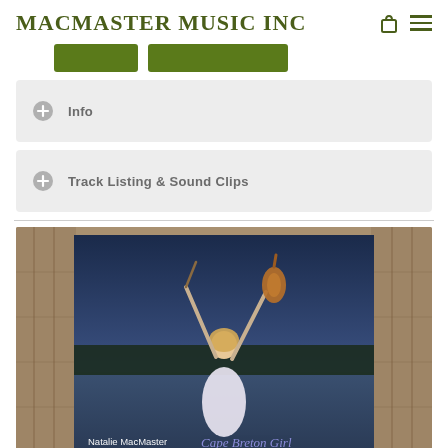MACMASTER MUSIC INC
[Figure (screenshot): Two green buttons (partially visible, cropped)]
Info
Track Listing & Sound Clips
[Figure (photo): Album cover photo: Natalie MacMaster holding a violin bow up in one hand and the violin in the other, wearing a white dress, with a twilight lake and trees in the background. Rustic barn wood frame surrounds a centered CD cover. Text reads 'Natalie MacMaster Cape Breton Girl'.]